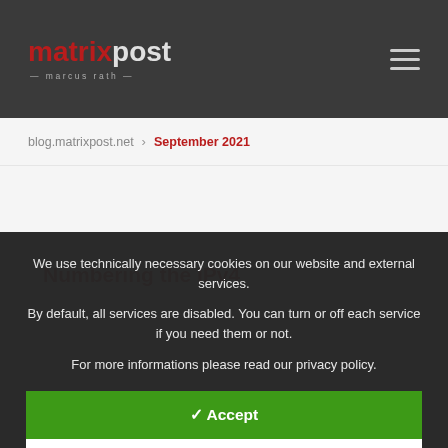matrixpost marcus rath
blog.matrixpost.net > September 2021
Numbering the IPv4
We use technically necessary cookies on our website and external services.
By default, all services are disabled. You can turn or off each service if you need them or not.
For more informations please read our privacy policy.
✓ Accept
Customize